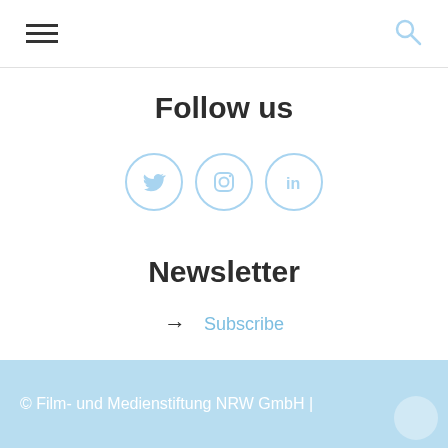Navigation header with hamburger menu and search icon
Follow us
[Figure (illustration): Three circular social media icons in light blue: Twitter bird, Instagram camera, LinkedIn 'in' logo]
Newsletter
→  Subscribe
© Film- und Medienstiftung NRW GmbH |